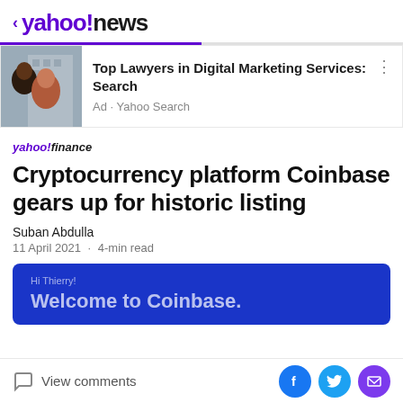< yahoo!news
[Figure (screenshot): Ad banner: couple photo with text 'Top Lawyers in Digital Marketing Services: Search' - Ad · Yahoo Search]
yahoo!finance
Cryptocurrency platform Coinbase gears up for historic listing
Suban Abdulla
11 April 2021 · 4-min read
[Figure (screenshot): Coinbase welcome email screenshot on blue background: 'Hi Thierry!' and 'Welcome to Coinbase.']
View comments